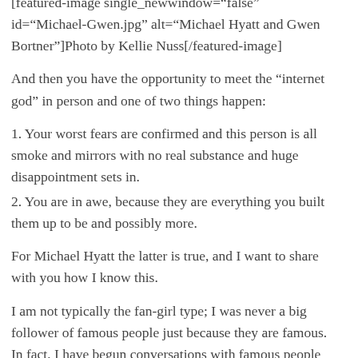[featured-image single_newwindow="false" id="Michael-Gwen.jpg" alt="Michael Hyatt and Gwen Bortner"]Photo by Kellie Nuss[/featured-image]
And then you have the opportunity to meet the “internet god” in person and one of two things happen:
1. Your worst fears are confirmed and this person is all smoke and mirrors with no real substance and huge disappointment sets in.
2. You are in awe, because they are everything you built them up to be and possibly more.
For Michael Hyatt the latter is true, and I want to share with you how I know this.
I am not typically the fan-girl type; I was never a big follower of famous people just because they are famous. In fact, I have begun conversations with famous people (like international music stars) not